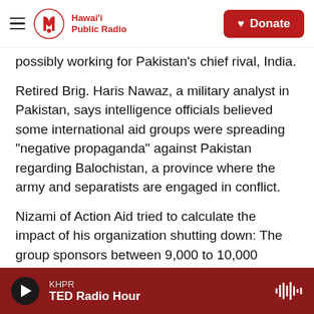Hawai'i Public Radio | Donate
possibly working for Pakistan's chief rival, India.
Retired Brig. Haris Nawaz, a military analyst in Pakistan, says intelligence officials believed some international aid groups were spreading "negative propaganda" against Pakistan regarding Balochistan, a province where the army and separatists are engaged in conflict.
Nizami of Action Aid tried to calculate the impact of his organization shutting down: The group sponsors between 9,000 to 10,000 children. They work with 20 local groups to implement projects and have over 50 employees. If their appeal is
KHPR
TED Radio Hour